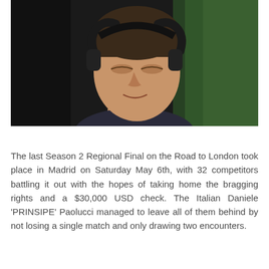[Figure (photo): A young man wearing black headphones, eyes closed, slight smile, photographed in a dark environment with a green screen visible in the background.]
The last Season 2 Regional Final on the Road to London took place in Madrid on Saturday May 6th, with 32 competitors battling it out with the hopes of taking home the bragging rights and a $30,000 USD check. The Italian Daniele 'PRINSIPE' Paolucci managed to leave all of them behind by not losing a single match and only drawing two encounters.